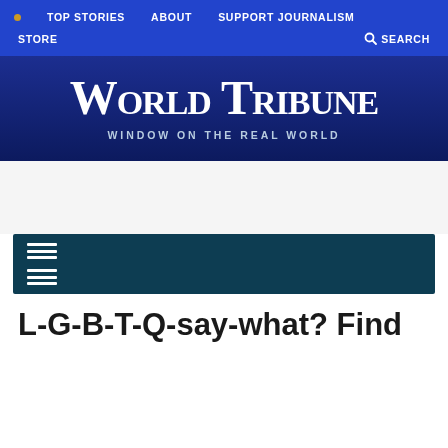TOP STORIES  ABOUT  SUPPORT JOURNALISM  STORE  SEARCH
[Figure (logo): World Tribune newspaper logo with blackletter font and tagline 'WINDOW ON THE REAL WORLD' on dark blue background]
L-G-B-T-Q-say-what? Find